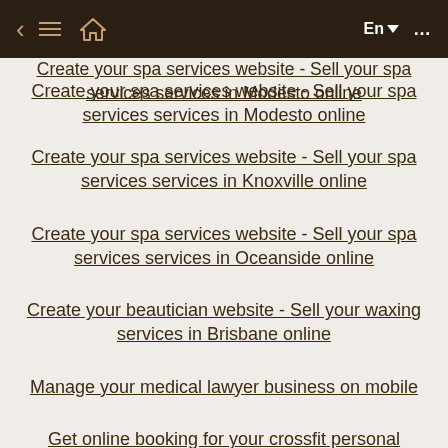Create your spa services website - Sell your spa services services in Modesto online
Create your spa services website - Sell your spa services services in Knoxville online
Create your spa services website - Sell your spa services services in Oceanside online
Create your beautician website - Sell your waxing services in Brisbane online
Manage your medical lawyer business on mobile
Get online booking for your crossfit personal trainer business
Manage your portuguese tutoring business on mobile